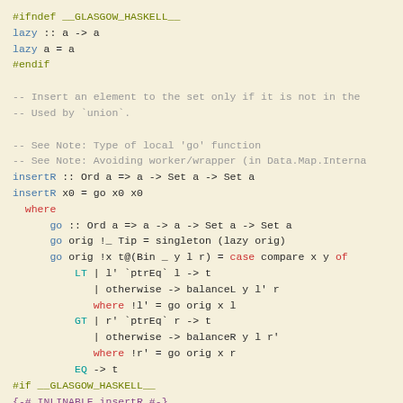#ifndef __GLASGOW_HASKELL__
lazy :: a -> a
lazy a = a
#endif

-- Insert an element to the set only if it is not in the
-- Used by `union`.

-- See Note: Type of local 'go' function
-- See Note: Avoiding worker/wrapper (in Data.Map.Interna
insertR :: Ord a => a -> Set a -> Set a
insertR x0 = go x0 x0
  where
      go :: Ord a => a -> a -> Set a -> Set a
      go orig !_ Tip = singleton (lazy orig)
      go orig !x t@(Bin _ y l r) = case compare x y of
          LT | l' `ptrEq` l -> t
             | otherwise -> balanceL y l' r
             where !l' = go orig x l
          GT | r' `ptrEq` r -> t
             | otherwise -> balanceR y l r'
             where !r' = go orig x r
          EQ -> t
#if __GLASGOW_HASKELL__
{-# INLINABLE insertR #-}
#else
{-# INLINE insertR #-}
#endif